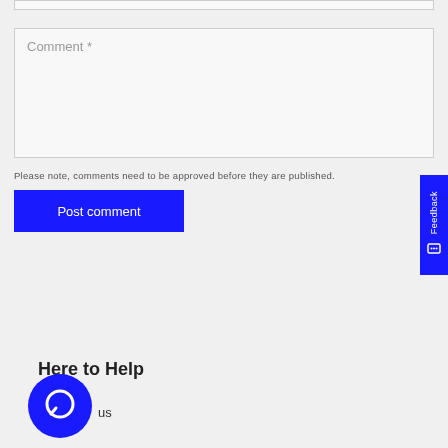Comment *
Please note, comments need to be approved before they are published.
Post comment
Feedback
Here to Help
us